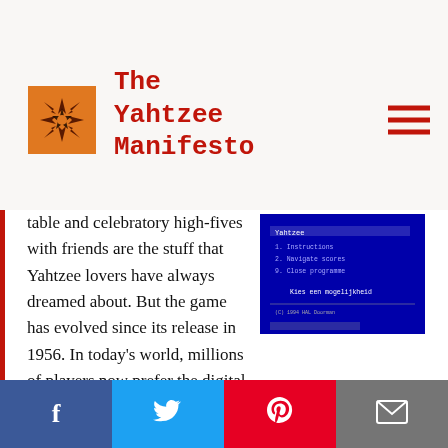The Yahtzee Manifesto
table and celebratory high-fives with friends are the stuff that Yahtzee lovers have always dreamed about. But the game has evolved since its release in 1956. In today's world, millions of players now prefer the digital dice of online Yahtzee.
[Figure (screenshot): A blue-screen DOS-style program menu for a Yahtzee game, showing menu options including Instructions, Navigate scores, Close programme, with Dutch text 'Kies een mogelijkheid' and copyright 1994 HAL Doorman.]
Social share bar with Facebook, Twitter, Pinterest, and email buttons